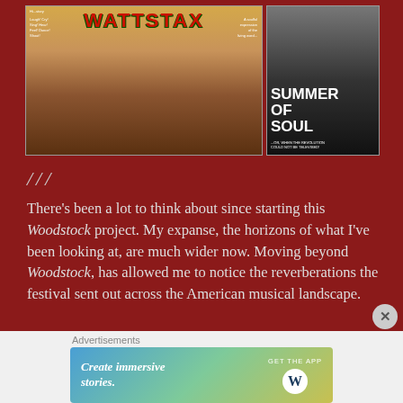[Figure (photo): Two movie posters side by side on a dark red background. Left poster: Wattstax film poster with colorful crowd imagery and bold red/green title text. Right poster: Summer of Soul documentary poster in black and white with bold white text.]
///
There’s been a lot to think about since starting this Woodstock project. My expanse, the horizons of what I’ve been looking at, are much wider now. Moving beyond Woodstock, has allowed me to notice the reverberations the festival sent out across the American musical landscape.
Advertisements
[Figure (screenshot): Advertisement banner: 'Create immersive stories.' with GET THE APP button and WordPress logo]